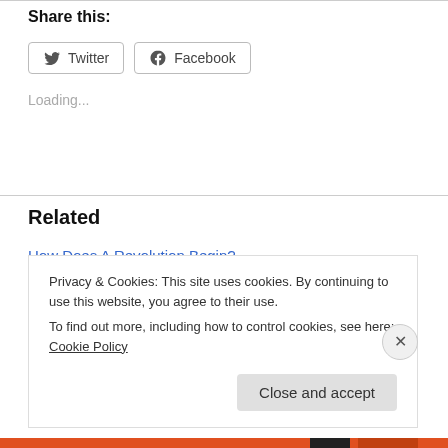Share this:
[Figure (other): Twitter and Facebook share buttons]
Loading...
Related
How Does A Revolution Begin?
June 16, 2009
In "Politics"
Privacy & Cookies: This site uses cookies. By continuing to use this website, you agree to their use.
To find out more, including how to control cookies, see here: Cookie Policy